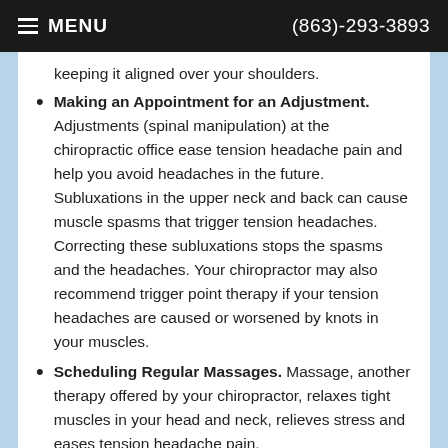≡ MENU   (863)-293-3893
keeping it aligned over your shoulders.
Making an Appointment for an Adjustment. Adjustments (spinal manipulation) at the chiropractic office ease tension headache pain and help you avoid headaches in the future. Subluxations in the upper neck and back can cause muscle spasms that trigger tension headaches. Correcting these subluxations stops the spasms and the headaches. Your chiropractor may also recommend trigger point therapy if your tension headaches are caused or worsened by knots in your muscles.
Scheduling Regular Massages. Massage, another therapy offered by your chiropractor, relaxes tight muscles in your head and neck, relieves stress and eases tension headache pain.
Are you tired of living with tension headaches? Relieve